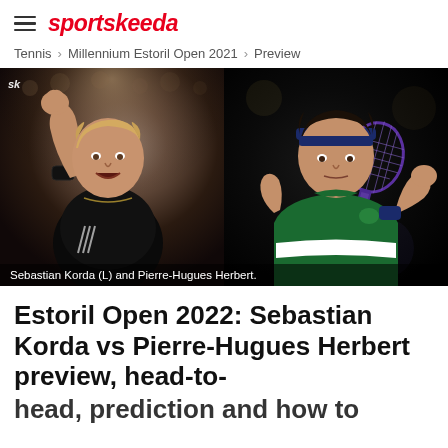sportskeeda
Tennis › Millennium Estoril Open 2021 › Preview
[Figure (photo): Split photo: Sebastian Korda (left) raising fist in celebration wearing black Adidas outfit, and Pierre-Hugues Herbert (right) holding tennis racket in green Lacoste shirt on dark background]
Sebastian Korda (L) and Pierre-Hugues Herbert.
Estoril Open 2022: Sebastian Korda vs Pierre-Hugues Herbert preview, head-to-head, prediction and how to watch